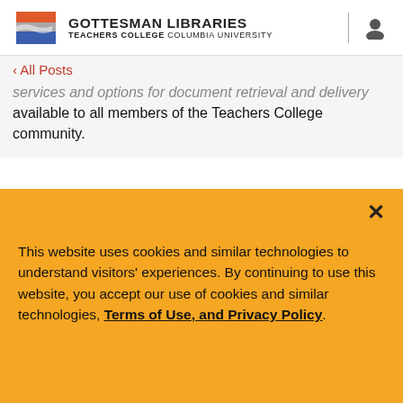[Figure (logo): Gottesman Libraries Teachers College Columbia University logo with colorful flag icon]
GOTTESMAN LIBRARIES TEACHERS COLLEGE COLUMBIA UNIVERSITY
< All Posts
services and options for document retrieval and delivery available to all members of the Teachers College community.
This website uses cookies and similar technologies to understand visitors' experiences. By continuing to use this website, you accept our use of cookies and similar technologies, Terms of Use, and Privacy Policy.